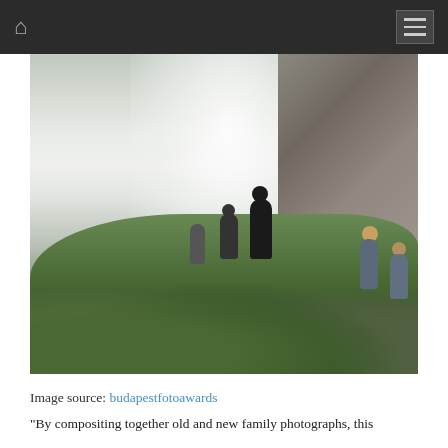[Figure (photo): A colorized composite photograph showing people (adults and children) on a green hillside with a large misty waterfall and rocky cliffs in the background. The scene blends old and new family photographs.]
Image source: budapestfotoawards
“By compositing together old and new family photographs, this